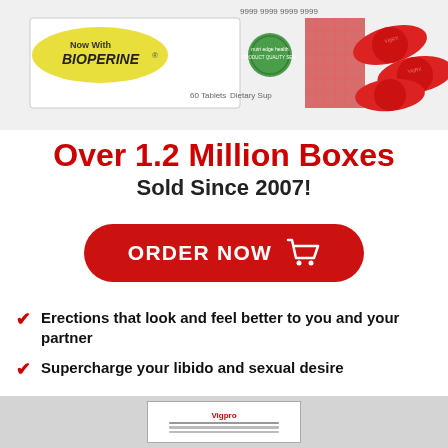[Figure (photo): Product box labeled 'Now With BIOPERINE®' with 60 Tablets and Dietary Supplement text, accompanied by red capsule pills on the right side]
Over 1.2 Million Boxes Sold Since 2007!
[Figure (infographic): Red oval ORDER NOW button with shopping cart icon]
Erections that look and feel better to you and your partner
Supercharge your libido and sexual desire
Better CONTROL over erections
More frequent and intense orgasms
[Figure (other): Gray footer area with a small white box containing red text and horizontal lines]